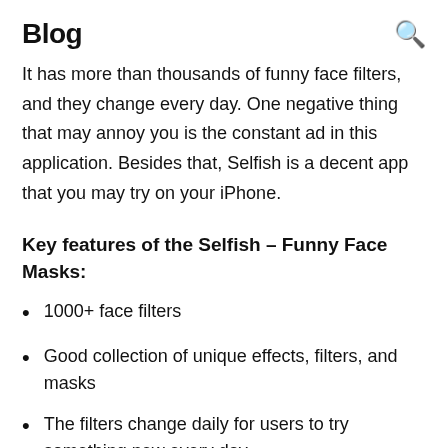Blog
It has more than thousands of funny face filters, and they change every day. One negative thing that may annoy you is the constant ad in this application. Besides that, Selfish is a decent app that you may try on your iPhone.
Key features of the Selfish – Funny Face Masks:
1000+ face filters
Good collection of unique effects, filters, and masks
The filters change daily for users to try something new every day